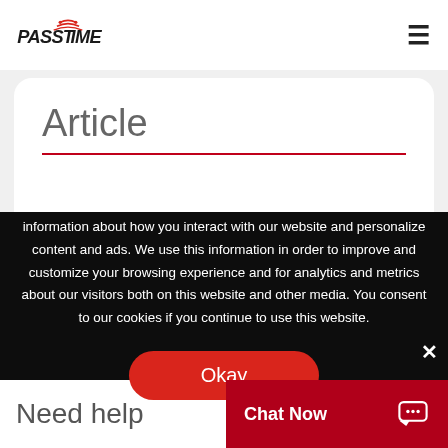PASSTIME [logo] [hamburger menu]
Article
This website uses cookies. These cookies are used to collect information about how you interact with our website and personalize content and ads. We use this information in order to improve and customize your browsing experience and for analytics and metrics about our visitors both on this website and other media. You consent to our cookies if you continue to use this website.
Okay
Need help
Chat Now